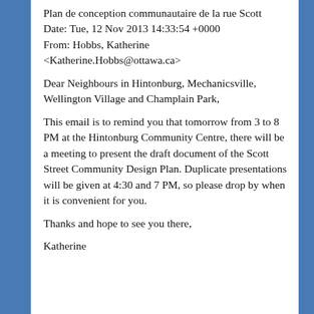Plan de conception communautaire de la rue Scott
Date: Tue, 12 Nov 2013 14:33:54 +0000
From: Hobbs, Katherine
<Katherine.Hobbs@ottawa.ca>
Dear Neighbours in Hintonburg, Mechanicsville, Wellington Village and Champlain Park,
This email is to remind you that tomorrow from 3 to 8 PM at the Hintonburg Community Centre, there will be a meeting to present the draft document of the Scott Street Community Design Plan. Duplicate presentations will be given at 4:30 and 7 PM, so please drop by when it is convenient for you.
Thanks and hope to see you there,
Katherine